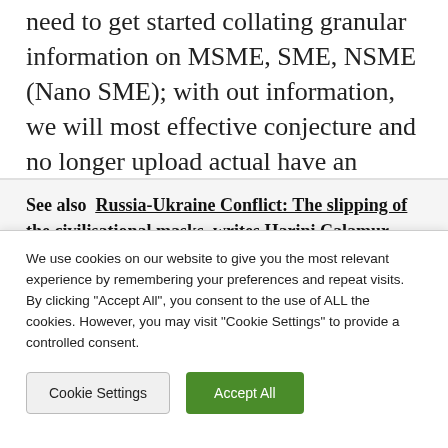need to get started collating granular information on MSME, SME, NSME (Nano SME); with out information, we will most effective conjecture and no longer upload actual have an effect on.
See also  Russia-Ukraine Conflict: The slipping of the civilisational masks, writes Harini Calamur
We use cookies on our website to give you the most relevant experience by remembering your preferences and repeat visits. By clicking "Accept All", you consent to the use of ALL the cookies. However, you may visit "Cookie Settings" to provide a controlled consent.